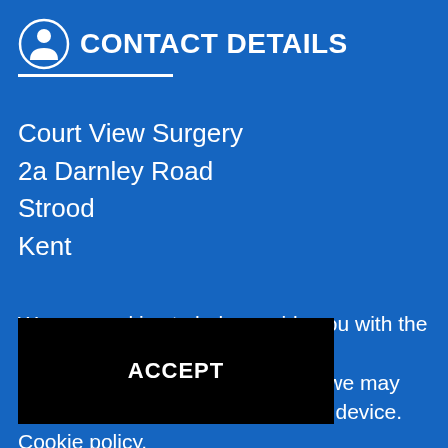CONTACT DETAILS
Court View Surgery
2a Darnley Road
Strood
Kent
We use cookies to help provide you with the best possible online experience. By using this site, you agree that we may store and access cookies on your device. Cookie policy. Cookie settings.
ACCEPT